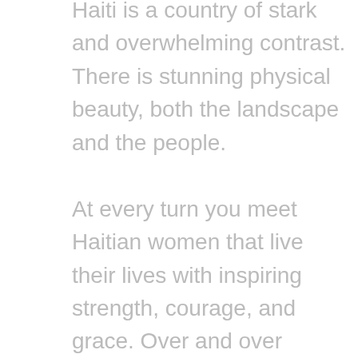Haiti is a country of stark and overwhelming contrast. There is stunning physical beauty, both the landscape and the people. At every turn you meet Haitian women that live their lives with inspiring strength, courage, and grace. Over and over women are handling the responsibilities of the home as well as being the main breadwinners for their families. These women, they humble us. The good is so very good. The beauty so rich, so staggering. On the flip side there is deep poverty, and sometimes very deep